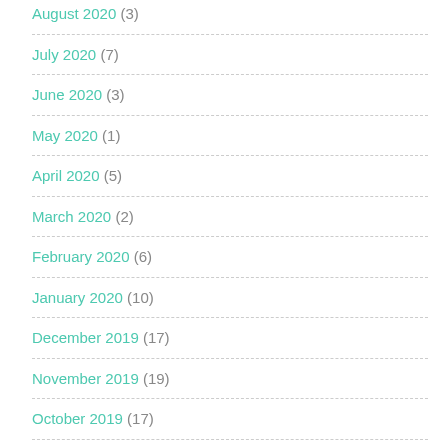August 2020 (3)
July 2020 (7)
June 2020 (3)
May 2020 (1)
April 2020 (5)
March 2020 (2)
February 2020 (6)
January 2020 (10)
December 2019 (17)
November 2019 (19)
October 2019 (17)
September 2019 (13)